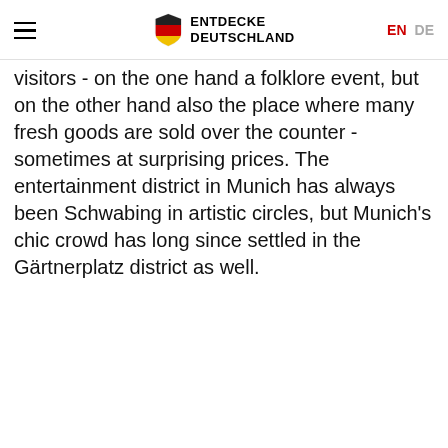ENTDECKE DEUTSCHLAND | EN DE
visitors - on the one hand a folklore event, but on the other hand also the place where many fresh goods are sold over the counter - sometimes at surprising prices. The entertainment district in Munich has always been Schwabing in artistic circles, but Munich's chic crowd has long since settled in the Gärtnerplatz district as well.